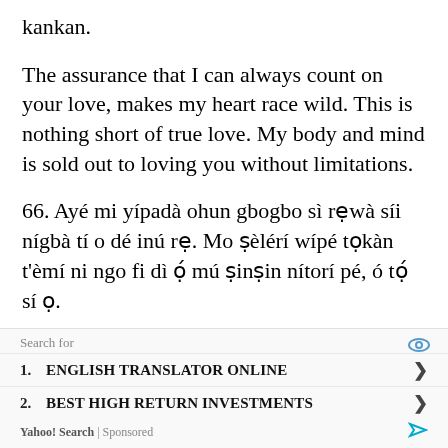kankan.
The assurance that I can always count on your love, makes my heart race wild. This is nothing short of true love. My body and mind is sold out to loving you without limitations.
66. Ayé mi yípadà ohun gbogbo sì rẹwà síi nígbà tí o dé inú rẹ. Mo ṣèlérí wípé tọkàn t'èmí ni ngo fi dì ọ́ mú ṣinṣin nítorí pé, ó tọ́ sí ọ.
You came into my life and everything because just so beautiful. I promise that my heart and soul will hold
Search for
1. ENGLISH TRANSLATOR ONLINE
2. BEST HIGH RETURN INVESTMENTS
Yahoo! Search | Sponsored